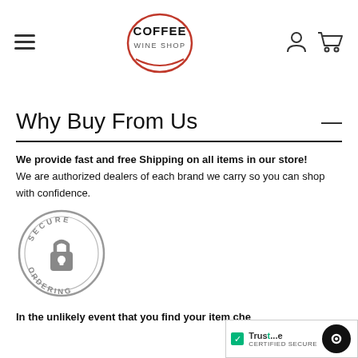[Figure (logo): Coffee Wine Shop logo — circular with red border, text COFFEE WINE SHOP]
Why Buy From Us
We provide fast and free Shipping on all items in our store! We are authorized dealers of each brand we carry so you can shop with confidence.
[Figure (illustration): Secure Ordering badge — circular grey badge with padlock icon and text SECURE ORDERING]
In the unlikely event that you find your item che...